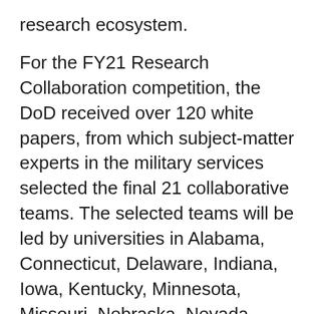research ecosystem.
For the FY21 Research Collaboration competition, the DoD received over 120 white papers, from which subject-matter experts in the military services selected the final 21 collaborative teams. The selected teams will be led by universities in Alabama, Connecticut, Delaware, Indiana, Iowa, Kentucky, Minnesota, Missouri, Nebraska, Nevada, New Hampshire, New Mexico, North Dakota, Oklahoma, Oregon, South Carolina, and Tennessee. Each team will receive up to $600,000 over a three-year period of performance to pursue science and engineering research in areas relevant to DoD initiatives supporting the National